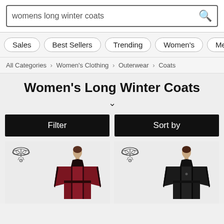[Figure (screenshot): Search bar with text 'womens long winter coats' and a search icon on the right]
Sales
Best Sellers
Trending
Women's
Men's
All Categories > Women's Clothing > Outerwear > Coats
Women's Long Winter Coats
Filter
Sort by
[Figure (photo): Gothic-style long dark red/burgundy velvet winter coat on a female model, with decorative logo in top left]
[Figure (photo): Gothic-style long black velvet winter coat on a female model, with decorative logo in top left]